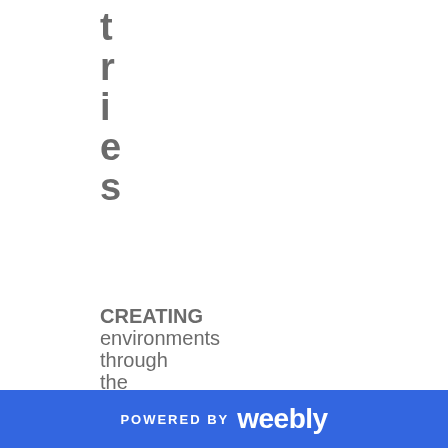t
r
i
e
s
CREATING environments through the vehicle of Visual and Expressive ARTS to help plug people
POWERED BY weebly